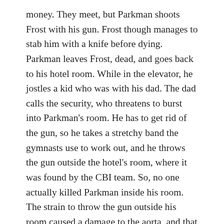money. They meet, but Parkman shoots Frost with his gun. Frost though manages to stab him with a knife before dying. Parkman leaves Frost, dead, and goes back to his hotel room. While in the elevator, he jostles a kid who was with his dad. The dad calls the security, who threatens to burst into Parkman's room. He has to get rid of the gun, so he takes a stretchy band the gymnasts use to work out, and he throws the gun outside the hotel's room, where it was found by the CBI team. So, no one actually killed Parkman inside his room. The strain to throw the gun outside his room caused a damage to the aorta, and that caused his death.
After solving this case, Jane and Lisbon ask Cooper if he hired Kira to bug the CBI for Visualize. He denies it, and Jane believes him. The only other option is that Red John hired Kira to bug the CBI. Jane and Lisbon then rush to Kira's house, she's